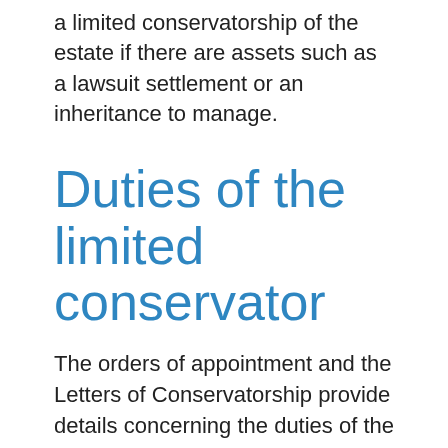a limited conservatorship of the estate if there are assets such as a lawsuit settlement or an inheritance to manage.
Duties of the limited conservator
The orders of appointment and the Letters of Conservatorship provide details concerning the duties of the limited conservator. For example, he or she should help the conservatee engage in education and training to help develop independence and self-reliance. On behalf of the estate, the conservator should also be aware and...